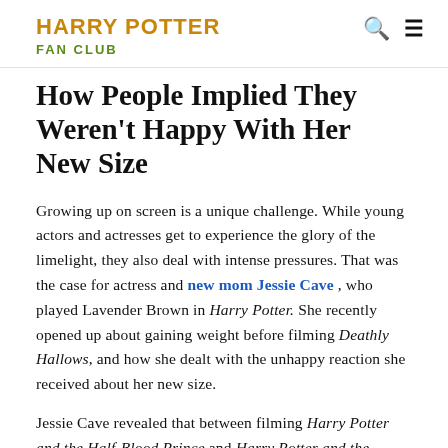HARRY POTTER FAN CLUB
How People Implied They Weren't Happy With Her New Size
Growing up on screen is a unique challenge. While young actors and actresses get to experience the glory of the limelight, they also deal with intense pressures. That was the case for actress and new mom Jessie Cave , who played Lavender Brown in Harry Potter. She recently opened up about gaining weight before filming Deathly Hallows, and how she dealt with the unhappy reaction she received about her new size.
Jessie Cave revealed that between filming Harry Potter and the Half-Blood Prince and Harry Potter and the Deathly Hallows, she gained a bit of weight. Her change in